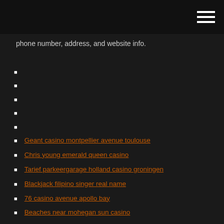phone number, address, and website info.
Geant casino montpellier avenue toulouse
Chris young emerald queen casino
Tarief parkeergarage holland casino groningen
Blackjack filipino singer real name
76 casino avenue apollo bay
Beaches near mohegan sun casino
Macau casino mas grande del mundo
Iowa department of inspections and appeals annual